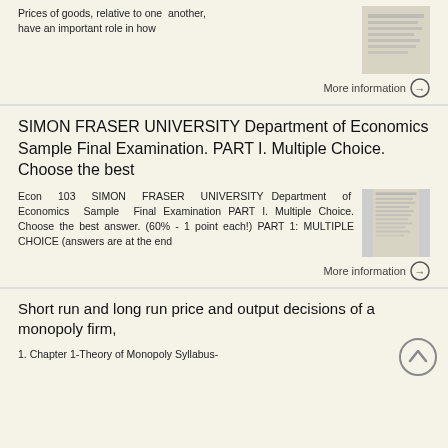Prices of goods, relative to one another, have an important role in how
More information →
SIMON FRASER UNIVERSITY Department of Economics Sample Final Examination. PART I. Multiple Choice. Choose the best
Econ 103 SIMON FRASER UNIVERSITY Department of Economics Sample Final Examination PART I. Multiple Choice. Choose the best answer. (60% - 1 point each!) PART 1: MULTIPLE CHOICE (answers are at the end
More information →
Short run and long run price and output decisions of a monopoly firm,
1. Chapter 1-Theory of Monopoly Syllabus-